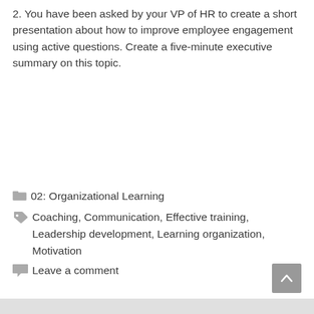2. You have been asked by your VP of HR to create a short presentation about how to improve employee engagement using active questions. Create a five-minute executive summary on this topic.
02: Organizational Learning
Coaching, Communication, Effective training, Leadership development, Learning organization, Motivation
Leave a comment